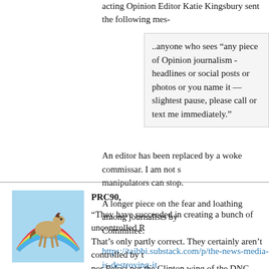acting Opinion Editor Katie Kingsbury sent the following mes-
..anyone who sees “any piece of Opinion journalism - headlines or social posts or photos or you name it — slightest pause, please call or text me immediately.”
An editor has been replaced by a woke commissar. I am not s manipulators can stop.
A longer piece on the fear and loathing among journalists by Committee:
https://taibbi.substack.com/p/the-news-media-is-destroying-it
Posted by: Barbara Ann | 17 June 2020 at 04:23 PM
PRC90,
"They have succeeded in creating a bunch of uncontrolled R That's only partly correct. They certainly aren't controlled by t nor Pelosi nor the Clinton wing of the DNC. Obama's people? enough to guess, but somebody is turning these riots on/off p certainly maintaining some semblance of control of those with funders. Lots of woke HR departments will rapidly get out of h